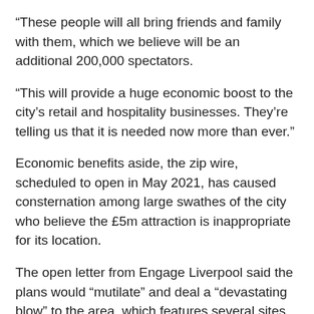“These people will all bring friends and family with them, which we believe will be an additional 200,000 spectators.
“This will provide a huge economic boost to the city’s retail and hospitality businesses. They’re telling us that it is needed now more than ever.”
Economic benefits aside, the zip wire, scheduled to open in May 2021, has caused consternation among large swathes of the city who believe the £5m attraction is inappropriate for its location.
The open letter from Engage Liverpool said the plans would “mutilate” and deal a “devastating blow” to the area, which features several sites of cultural and historical importance including the grade one-listed St George’s Hall and St John’s Gardens, which contains seven memorials.